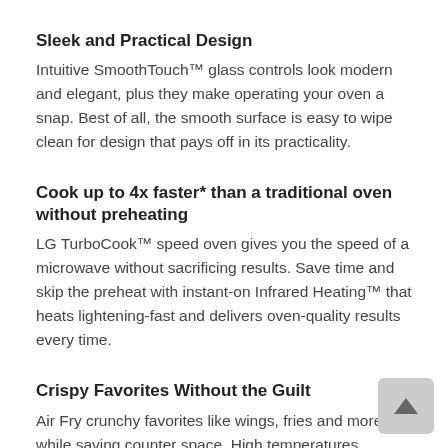Sleek and Practical Design
Intuitive SmoothTouch™ glass controls look modern and elegant, plus they make operating your oven a snap. Best of all, the smooth surface is easy to wipe clean for design that pays off in its practicality.
Cook up to 4x faster* than a traditional oven without preheating
LG TurboCook™ speed oven gives you the speed of a microwave without sacrificing results. Save time and skip the preheat with instant-on Infrared Heating™ that heats lightening-fast and delivers oven-quality results every time.
Crispy Favorites Without the Guilt
Air Fry crunchy favorites like wings, fries and more while saving counter space. High temperatures